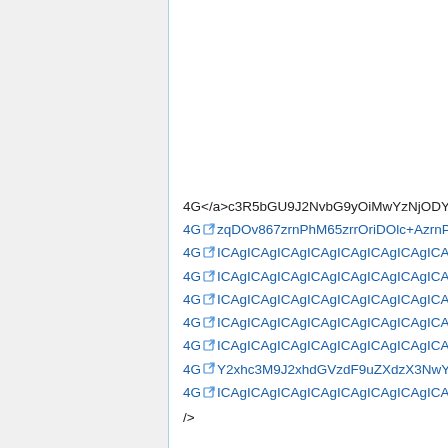4G</a>c3R5bGU9J2NvbG9yOiMwYzNjODY
4G [icon] zqDOv867zrnPhM65zrrOriDOlc+AzrnP
4G [icon] ICAgICAgICAgICAgICAgICAgICAgICA
4G [icon] ICAgICAgICAgICAgICAgICAgICAgICA
4G [icon] ICAgICAgICAgICAgICAgICAgICAgICA
4G [icon] ICAgICAgICAgICAgICAgICAgICAgICA
4G [icon] ICAgICAgICAgICAgICAgICAgICAgICA
4G [icon] Y2xhc3M9J2xhdGVzdF9uZXdzX3NwY
4G [icon] ICAgICAgICAgICAgICAgICAgICAgICA
/>